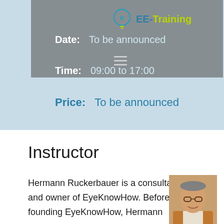[Figure (logo): EE-Training logo with circular icon and text]
Date:  To be announced
Time:  09:00 to 17:00
Price:  To be announced
Instructor
Hermann Ruckerbauer is a consultant and owner of EyeKnowHow. Before founding EyeKnowHow, Hermann
[Figure (photo): Portrait photo of Hermann Ruckerbauer, a middle-aged man with glasses wearing a tan jacket]